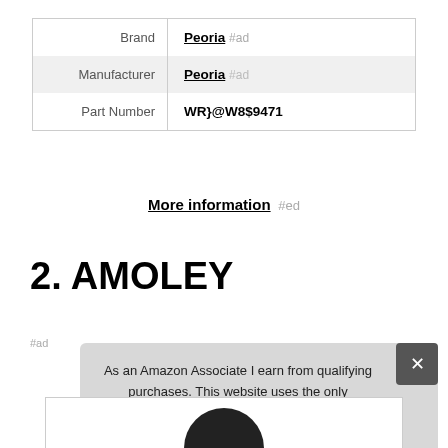|  |  |
| --- | --- |
| Brand | Peoria #ad |
| Manufacturer | Peoria #ad |
| Part Number | WR}@W8$9471 |
More information #ed
2. AMOLEY
As an Amazon Associate I earn from qualifying purchases. This website uses the only necessary cookies to ensure you get the best experience on our website. More information